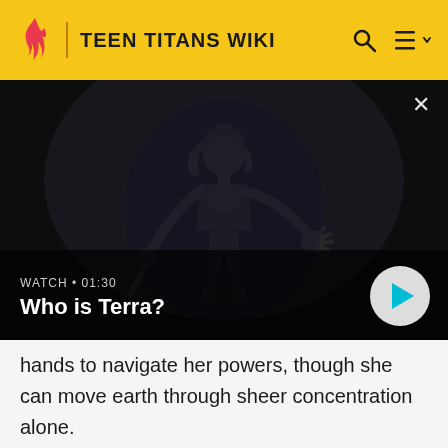TEEN TITANS WIKI
[Figure (screenshot): Dark video thumbnail showing an animated character (Terra) in battle suit holding a staff, with video overlay showing WATCH • 01:30 and title 'Who is Terra?' with a play button]
hands to navigate her powers, though she can move earth through sheer concentration alone.
After Slade greatly amplified and strengthened her abilities with the technologically enhanced battle-suit he designed for her, Terra could summon sentient creatures